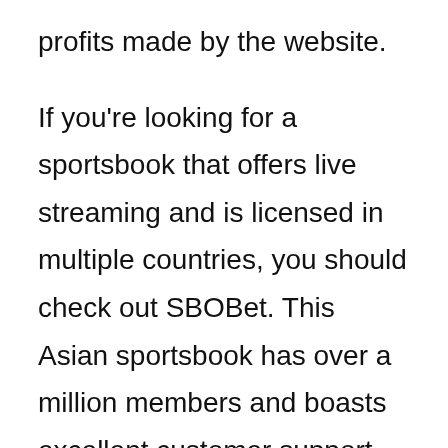profits made by the website.
If you're looking for a sportsbook that offers live streaming and is licensed in multiple countries, you should check out SBOBet. This Asian sportsbook has over a million members and boasts excellent customer support. The website is available in multiple languages, including Spanish and English. Besides the extensive betting markets, SBOBet also offers an online casino, a wide variety of betting markets, and a customer support service in multiple languages.
Another thing to consider is payment options.